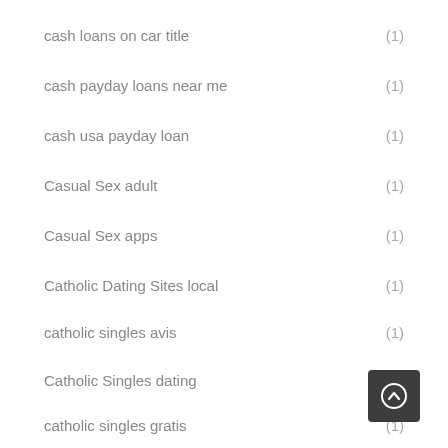cash loans on car title (1)
cash payday loans near me (1)
cash usa payday loan (1)
Casual Sex adult (1)
Casual Sex apps (1)
Catholic Dating Sites local (1)
catholic singles avis (1)
Catholic Singles dating
catholic singles gratis (1)